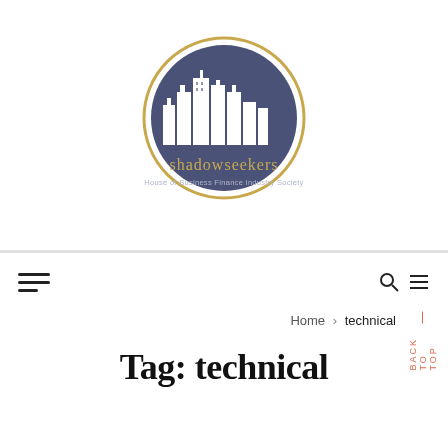[Figure (logo): Shadowseekers logo: circular emblem with gold outer ring and navy blue inner circle containing white city skyline silhouette, with text 'shadowseekers' below in gold and 'House of Business Finance Industry Society' in smaller text]
Navigation bar with hamburger menu icon on left, search and menu icons on right, and BACK TO TOP vertical text
Home › technical
Tag: technical